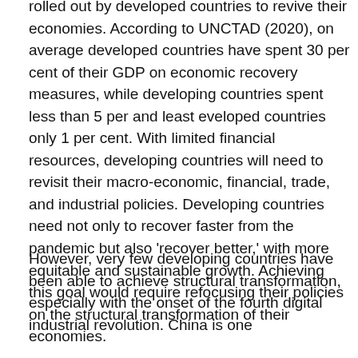rolled out by developed countries to revive their economies. According to UNCTAD (2020), on average developed countries have spent 30 per cent of their GDP on economic recovery measures, while developing countries spent less than 5 per and least eveloped countries only 1 per cent. With limited financial resources, developing countries will need to revisit their macro-economic, financial, trade, and industrial policies. Developing countries need not only to recover faster from the pandemic but also 'recover better,' with more equitable and sustainable growth. Achieving this goal would require refocusing their policies on the structural transformation of their economies.
However, very few developing countries have been able to achieve structural transformation, especially with the onset of the fourth digital industrial revolution. China is one